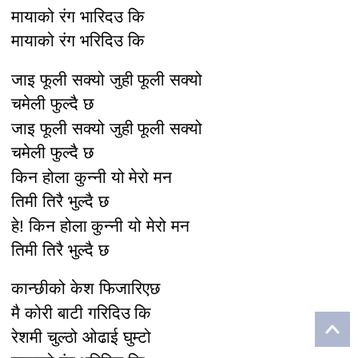मायाको रंग भारिदउ कि
मायाको रंग भरिदिउ कि
जाइ फूली सक्यो जुही फूली सक्यो
चमेली फुल्दै छ
जाइ फूली सक्यो जुही फूली सक्यो
चमेली फुल्दै छ
किन होला कुन्नी यो मेरो मन
तिमी तिरै भुल्दै छ
हे! किन होला कुन्नी यो मेरो मन
तिमी तिरै भुल्दै छ
कान्छीको केश फिजारिएछ
मै कोरी बाटी गरिदिउ कि
रेशमी चुल्ठो ओढाई घुम्टो
मायाको रंग भरिदिउ कि